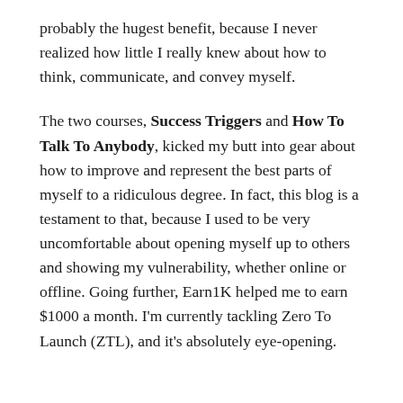probably the hugest benefit, because I never realized how little I really knew about how to think, communicate, and convey myself.
The two courses, Success Triggers and How To Talk To Anybody, kicked my butt into gear about how to improve and represent the best parts of myself to a ridiculous degree. In fact, this blog is a testament to that, because I used to be very uncomfortable about opening myself up to others and showing my vulnerability, whether online or offline. Going further, Earn1K helped me to earn $1000 a month. I'm currently tackling Zero To Launch (ZTL), and it's absolutely eye-opening.